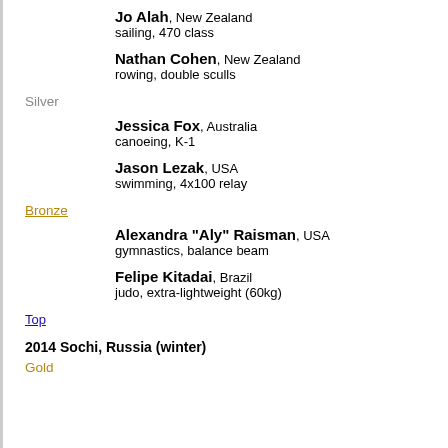Jo Alah, New Zealand — sailing, 470 class
Nathan Cohen, New Zealand — rowing, double sculls
Silver
Jessica Fox, Australia — canoeing, K-1
Jason Lezak, USA — swimming, 4x100 relay
Bronze
Alexandra "Aly" Raisman, USA — gymnastics, balance beam
Felipe Kitadai, Brazil — judo, extra-lightweight (60kg)
Top
2014 Sochi, Russia (winter)
Gold